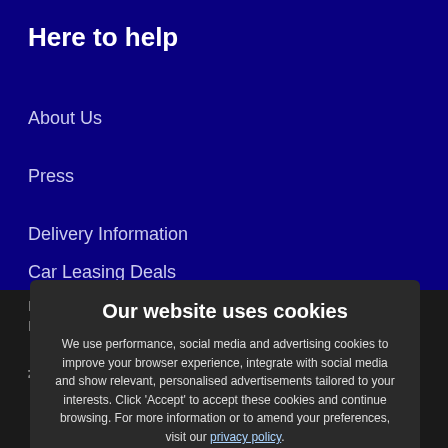Here to help
About Us
Press
Delivery Information
Car Leasing Deals
[Figure (screenshot): Cookie consent dialog overlay on a dark background. Title: 'Our website uses cookies'. Body text: 'We use performance, social media and advertising cookies to improve your browser experience, integrate with social media and show relevant, personalised advertisements tailored to your interests. Click 'Accept' to accept these cookies and continue browsing. For more information or to amend your preferences, visit our privacy policy.' Two buttons: 'Change Settings' (underlined) and 'ACCEPT' (orange button with checkmark).]